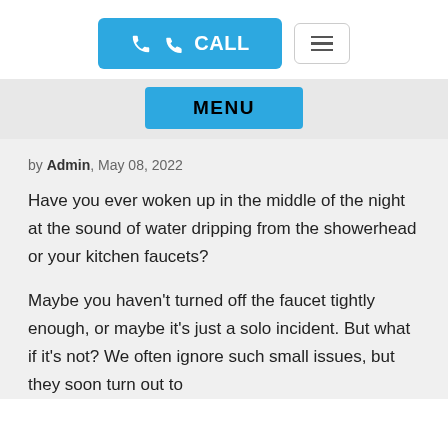[Figure (screenshot): Navigation header with a blue CALL button with phone icon and a hamburger menu button]
[Figure (screenshot): Dropdown menu area showing a blue MENU button on a light gray background]
by Admin, May 08, 2022
Have you ever woken up in the middle of the night at the sound of water dripping from the showerhead or your kitchen faucets?
Maybe you haven't turned off the faucet tightly enough, or maybe it's just a solo incident. But what if it's not? We often ignore such small issues, but they soon turn out to